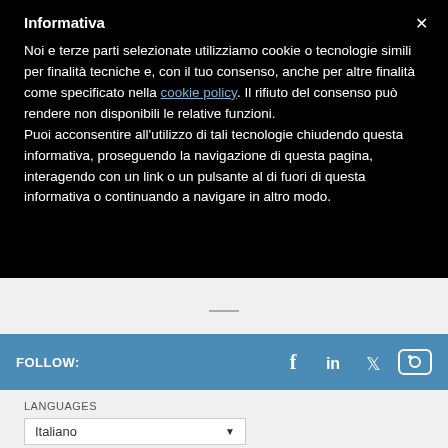Informativa
Noi e terze parti selezionate utilizziamo cookie o tecnologie simili per finalità tecniche e, con il tuo consenso, anche per altre finalità come specificato nella cookie policy. Il rifiuto del consenso può rendere non disponibili le relative funzioni.
Puoi acconsentire all'utilizzo di tali tecnologie chiudendo questa informativa, proseguendo la navigazione di questa pagina, interagendo con un link o un pulsante al di fuori di questa informativa o continuando a navigare in altro modo.
FOLLOW:
[Figure (other): Social media icons: Facebook, LinkedIn, Twitter, Flickr]
LANGUAGES
Italiano